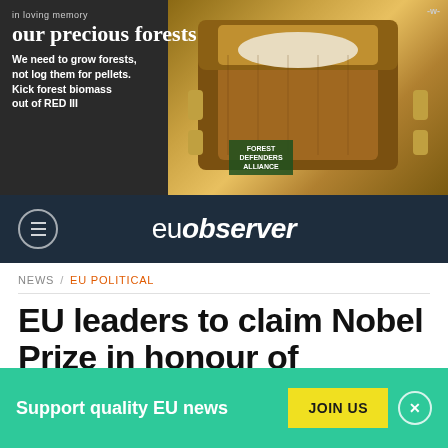[Figure (photo): Advertisement banner: dark background with a wooden casket image on the right and text on the left reading 'in loving memory / our precious forests / We need to grow forests, not log them for pellets. Kick forest biomass out of RED III' with a Forest Defenders Alliance badge]
euobserver
NEWS / EU POLITICAL
EU leaders to claim Nobel Prize in honour of 'European project'
[Figure (photo): Partial photo visible at bottom of article area, muted brown/gold tones]
Support quality EU news  JOIN US